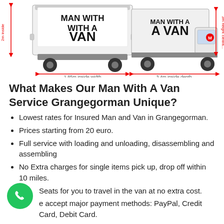[Figure (illustration): Two van diagrams showing dimensions: front view van with 2m inside height and 1.85m inside width; side view van with 3.4m inside depth and 3m height clearance. Text on vans reads 'MAN WITH A VAN'.]
What Makes Our Man With A Van Service Grangegorman Unique?
Lowest rates for Insured Man and Van in Grangegorman.
Prices starting from 20 euro.
Full service with loading and unloading, disassembling and assembling
No Extra charges for single items pick up, drop off within 10 miles.
Seats for you to travel in the van at no extra cost.
We accept major payment methods: PayPal, Credit Card, Debit Card.